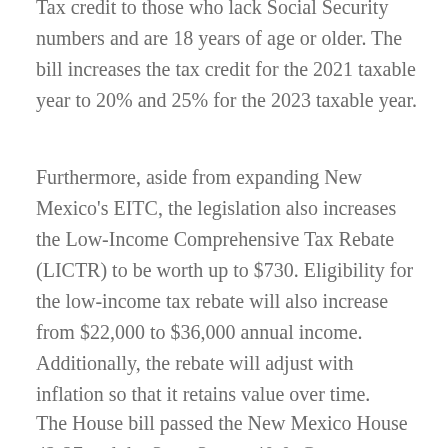Tax credit to those who lack Social Security numbers and are 18 years of age or older. The bill increases the tax credit for the 2021 taxable year to 20% and 25% for the 2023 taxable year.
Furthermore, aside from expanding New Mexico's EITC, the legislation also increases the Low-Income Comprehensive Tax Rebate (LICTR) to be worth up to $730. Eligibility for the low-income tax rebate will also increase from $22,000 to $36,000 annual income. Additionally, the rebate will adjust with inflation so that it retains value over time.
The House bill passed the New Mexico House 42-27 and the State Senate 40-0. Governor Michelle...